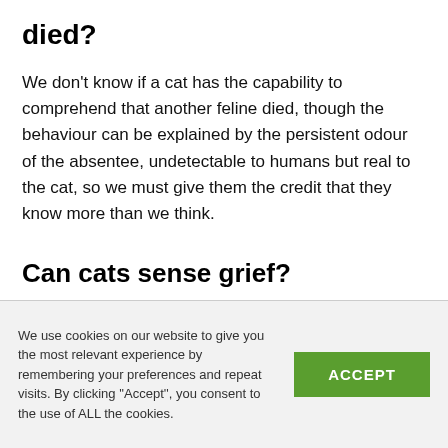died?
We don't know if a cat has the capability to comprehend that another feline died, though the behaviour can be explained by the persistent odour of the absentee, undetectable to humans but real to the cat, so we must give them the credit that they know more than we think.
Can cats sense grief?
We use cookies on our website to give you the most relevant experience by remembering your preferences and repeat visits. By clicking ''Accept'', you consent to the use of ALL the cookies.